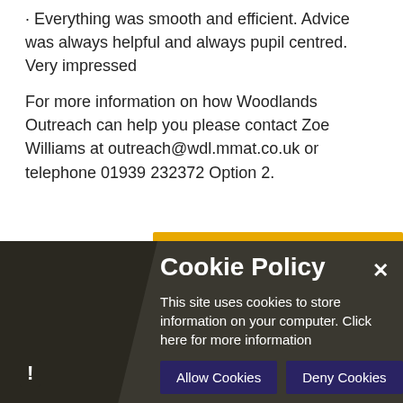· Everything was smooth and efficient. Advice was always helpful and always pupil centred. Very impressed
For more information on how Woodlands Outreach can help you please contact Zoe Williams at outreach@wdl.mmat.co.uk or telephone 01939 232372 Option 2.
[Figure (screenshot): Cookie policy overlay banner with dark background, title 'Cookie Policy', body text about cookies, Allow Cookies and Deny Cookies buttons, and a close X button.]